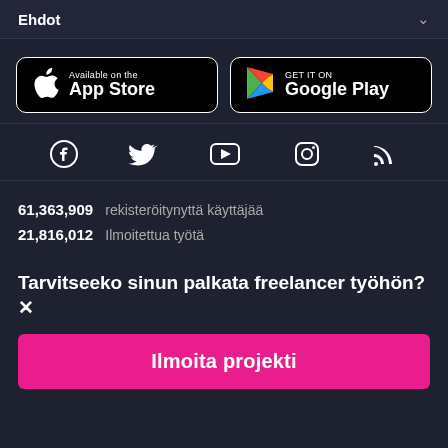Ehdot
[Figure (logo): App Store button with Apple logo — 'Available on the App Store']
[Figure (logo): Google Play button with Play logo — 'GET IT ON Google Play']
[Figure (infographic): Social media icons row: Facebook, Twitter, YouTube, Instagram, RSS]
61,363,909  rekisteröitynyttä käyttäjää
21,816,012  Ilmoitettua työtä
Tarvitseeko sinun palkata freelancer työhön?
Ilmoita projekti